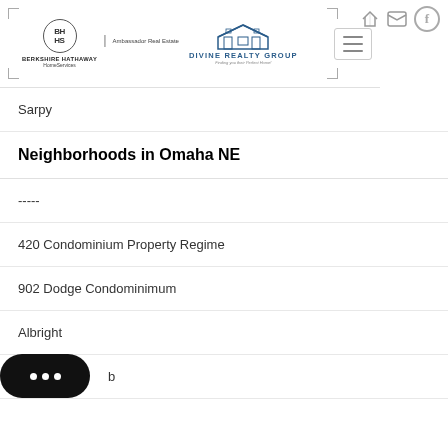Berkshire Hathaway HomeServices | Ambassador Real Estate — Divine Realty Group — Finding you their Perfect Home!
Sarpy
Neighborhoods in Omaha NE
-----
420 Condominium Property Regime
902 Dodge Condominimum
Albright
...b